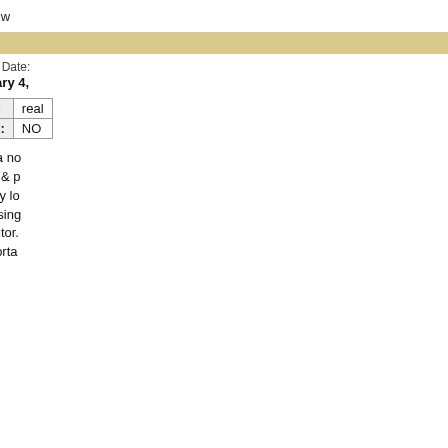others it w
Anonymous
Review Date: February 4,
Pros: real
Cons: NO
this is a no packet & p are very lo After using distributor. transporta
Anonymous
Review Date: March 3, 20
Pros: bett
Cons: not
I've been u now. I hav also have is that I ge Cruiser an using the p responsive V-8 also d